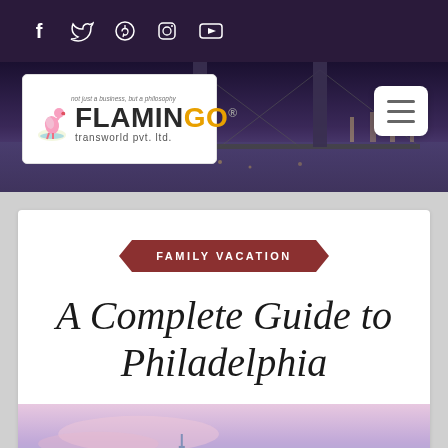Social media icons: Facebook, Twitter, Pinterest, Instagram, YouTube
[Figure (logo): Flamingo Transworld Pvt. Ltd. logo with tagline 'not just a business, but a philosophy']
[Figure (photo): City bridge at night with purple/blue tones as header banner background]
FAMILY VACATION
A Complete Guide to Philadelphia
[Figure (photo): Philadelphia city skyline with pastel pink and blue sky tones]